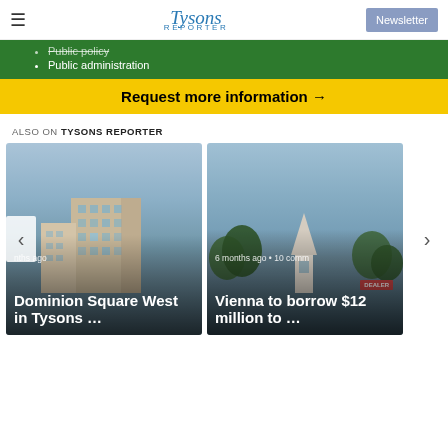Tysons Reporter — Newsletter
[Figure (infographic): Advertisement banner with green background listing 'Public policy' and 'Public administration', and a yellow 'Request more information →' button below.]
ALSO ON TYSONS REPORTER
[Figure (photo): Card carousel showing two articles: 'Dominion Square West in Tysons …' with a building rendering photo, and 'Vienna to borrow $12 million to …' with a church photo. Navigation arrows on left and right. Both cards show '6 months ago' and the second shows '10 comments'.]